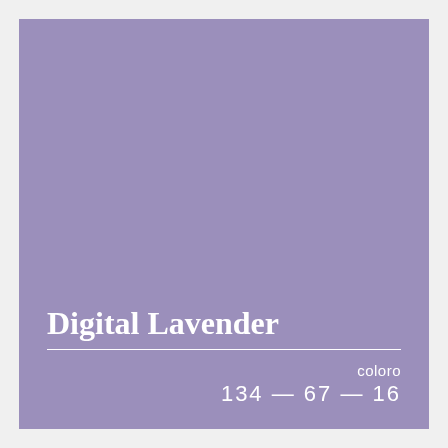[Figure (illustration): A solid lavender/purple color swatch square filling the main area of the card, color #9b8fbb (Digital Lavender).]
Digital Lavender
coloro
134 — 67 — 16